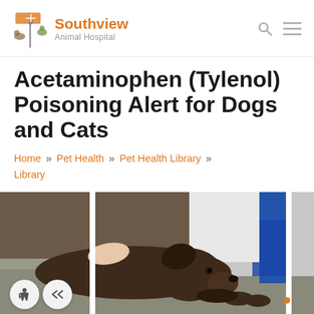Southview Animal Hospital
Acetaminophen (Tylenol) Poisoning Alert for Dogs and Cats
Home » Pet Health » Pet Health Library » Library
[Figure (photo): A brown Labrador dog lying on a veterinary examination table, with a veterinarian's hand resting on its back. A blue stethoscope is visible in the background.]